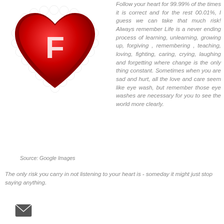[Figure (illustration): A decorative red heart with white lace edging and the letter F in white on it]
Source: Google Images
Follow your heart for 99.99% of the times it is correct and for the rest 00.01%, I guess we can take that much risk! Always remember Life is a never ending process of learning, unlearning, growing up, forgiving , remembering , teaching, loving, fighting, caring, crying, laughing and forgetting where change is the only thing constant. Sometimes when you are sad and hurt, all the love and care seem like eye wash, but remember those eye washes are necessary for you to see the world more clearly.
The only risk you carry in not listening to your heart is - someday it might just stop saying anything.
[Figure (illustration): Email envelope icon]